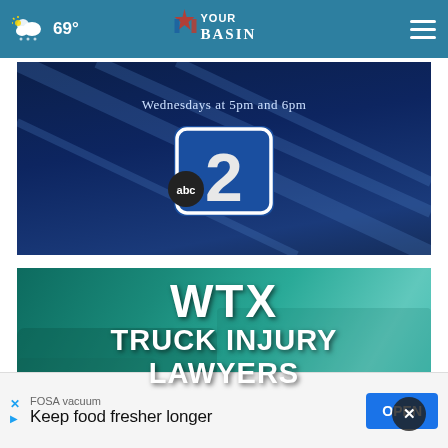69° YourBasin [navigation]
[Figure (screenshot): ABC2 TV channel promo showing 'Wednesdays at 5pm and 6pm' with abc2 logo on dark blue background]
[Figure (screenshot): WTX Truck Injury Lawyers advertisement with large white bold text over teal/green truck background]
[Figure (screenshot): KBW logo bar overlay with close X button]
FOSA vacuum
Keep food fresher longer
OPEN